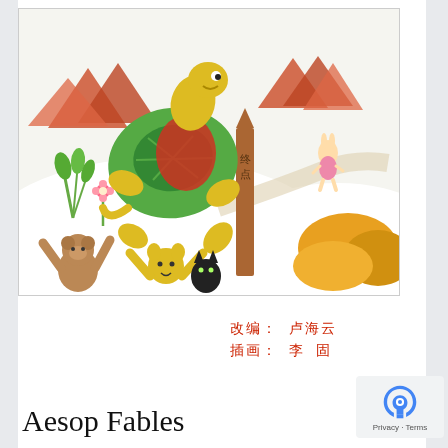[Figure (illustration): Children's book illustration showing a turtle racing against a rabbit. The turtle is large in the foreground, wearing a red backpack and running determinedly toward a wooden finish-line post marked with Chinese characters 终点 (finish). In the background, a rabbit in pink clothing runs on a path. Orange/red mountains are in the background. In the foreground at bottom, a bear and another animal cheer with raised arms. Orange and yellow bushes are on the right. Green plants and a flower on the left.]
改编：卢海云
插画：李 固
Aesop Fables